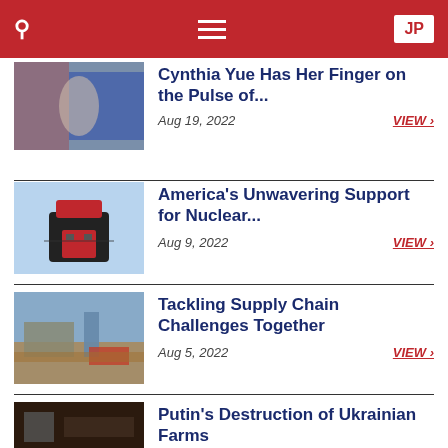JP
Cynthia Yue Has Her Finger on the Pulse of... Aug 19, 2022 VIEW
America's Unwavering Support for Nuclear... Aug 9, 2022 VIEW
Tackling Supply Chain Challenges Together Aug 5, 2022 VIEW
Putin's Destruction of Ukrainian Farms Jul 29, 2022 VIEW